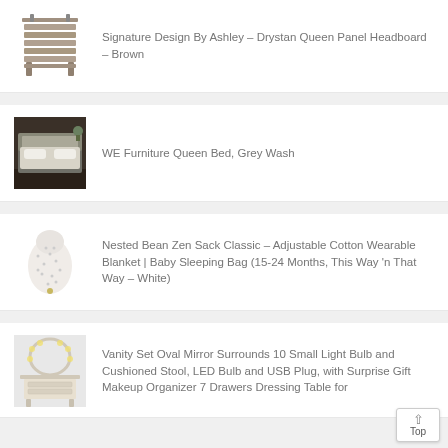[Figure (photo): Wooden panel headboard in brown/grey wood finish, slatted design]
Signature Design By Ashley – Drystan Queen Panel Headboard – Brown
[Figure (photo): Grey wash queen bed frame with upholstered headboard in a modern bedroom setting]
WE Furniture Queen Bed, Grey Wash
[Figure (photo): White wearable baby sleeping bag with small dot pattern]
Nested Bean Zen Sack Classic – Adjustable Cotton Wearable Blanket | Baby Sleeping Bag (15-24 Months, This Way 'n That Way – White)
[Figure (photo): White vanity set with oval mirror and light bulbs]
Vanity Set Oval Mirror Surrounds 10 Small Light Bulb and Cushioned Stool, LED Bulb and USB Plug, with Surprise Gift Makeup Organizer 7 Drawers Dressing Table for